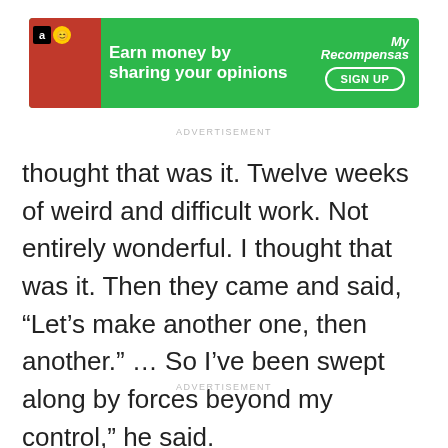[Figure (screenshot): Green advertisement banner: 'Earn money by sharing your opinions' with Amazon and smiley icons on left, My Recompensas logo and SIGN UP button on right]
ADVERTISEMENT
thought that was it. Twelve weeks of weird and difficult work. Not entirely wonderful. I thought that was it. Then they came and said, “Let’s make another one, then another.” … So I’ve been swept along by forces beyond my control,” he said.
ADVERTISEMENT